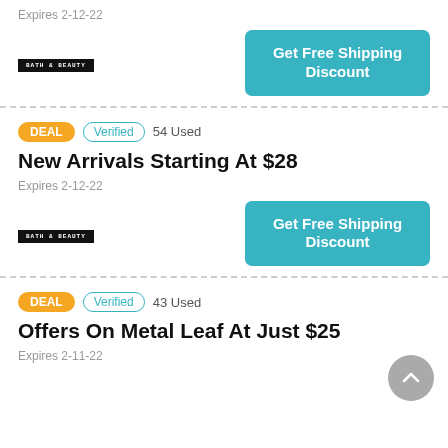Expires 2-12-22
[Figure (logo): Bath & Beauty store logo in black rectangle]
Get Free Shipping Discount
DEAL  Verified  54 Used
New Arrivals Starting At $28
Expires 2-12-22
[Figure (logo): Bath & Beauty store logo in black rectangle]
Get Free Shipping Discount
DEAL  Verified  43 Used
Offers On Metal Leaf At Just $25
Expires 2-11-22